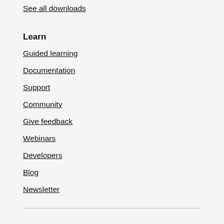See all downloads
Learn
Guided learning
Documentation
Support
Community
Give feedback
Webinars
Developers
Blog
Newsletter